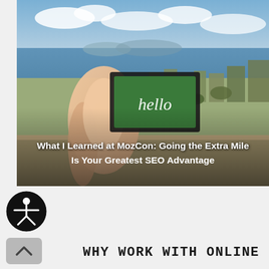[Figure (photo): Aerial photo of Seattle waterfront and cityscape. A hand holds a green card with 'hello' written in cursive script. Overlaid white bold text reads: 'What I Learned at MozCon: Going the Extra Mile Is Your Greatest SEO Advantage'.]
[Figure (illustration): Accessibility icon: black circle with white stick figure with arms outstretched]
[Figure (illustration): Gray rounded rectangle scroll-to-top button with upward chevron arrow]
WHY WORK WITH ONLINE